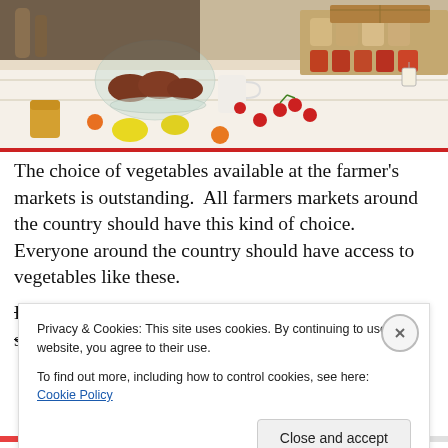[Figure (photo): A farmer's market table covered with a floral tablecloth displaying jams, preserves in jars, chocolates under a glass dome, and various other food items.]
The choice of vegetables available at the farmer's markets is outstanding.  All farmers markets around the country should have this kind of choice.  Everyone around the country should have access to vegetables like these.
Dark bunches of cavolo nero and pumpkins of all sizes
Privacy & Cookies: This site uses cookies. By continuing to use this website, you agree to their use.
To find out more, including how to control cookies, see here: Cookie Policy